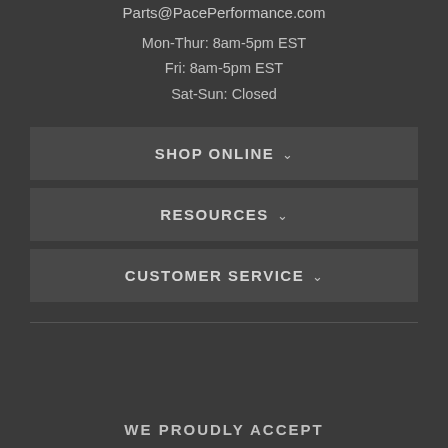Parts@PacePerformance.com
Mon-Thur: 8am-5pm EST
Fri: 8am-5pm EST
Sat-Sun: Closed
SHOP ONLINE
RESOURCES
CUSTOMER SERVICE
WE PROUDLY ACCEPT